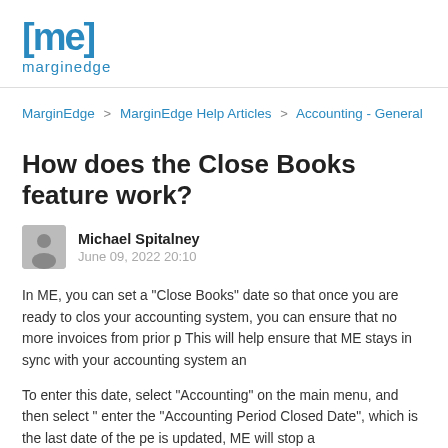[Figure (logo): MarginEdge logo: [me] in blue brackets with 'marginedge' text below]
MarginEdge > MarginEdge Help Articles > Accounting - General
How does the Close Books feature work?
Michael Spitalney
June 09, 2022 20:10
In ME, you can set a "Close Books" date so that once you are ready to close your accounting system, you can ensure that no more invoices from prior p... This will help ensure that ME stays in sync with your accounting system an...
To enter this date, select "Accounting" on the main menu, and then select "... enter the "Accounting Period Closed Date", which is the last date of the pe... is updated, ME will stop a...